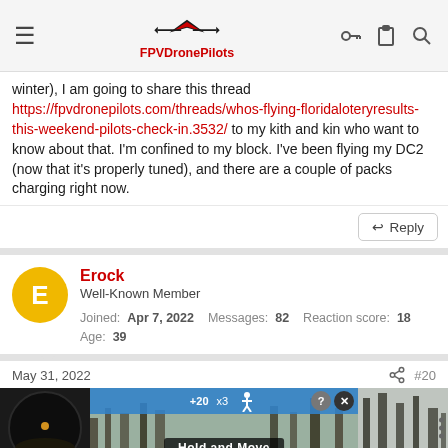FPVDronePilots
winter), I am going to share this thread https://fpvdronepilots.com/threads/whos-flying-floridaloteryresults-this-weekend-pilots-check-in.3532/ to my kith and kin who want to know about that. I'm confined to my block. I've been flying my DC2 (now that it's properly tuned), and there are a couple of packs charging right now.
↩ Reply
Erock
Well-Known Member
Joined: Apr 7, 2022  Messages: 82  Reaction score: 18
Age: 39
May 31, 2022
#20
[Figure (screenshot): A composite image strip showing: left panel with a dark circular photo (sunset/drone shot), center panel with a game or app UI overlay showing 'Hold and Move' text and blue UI elements with close/question buttons, right panel showing bare winter trees against gray sky.]
GTGTC